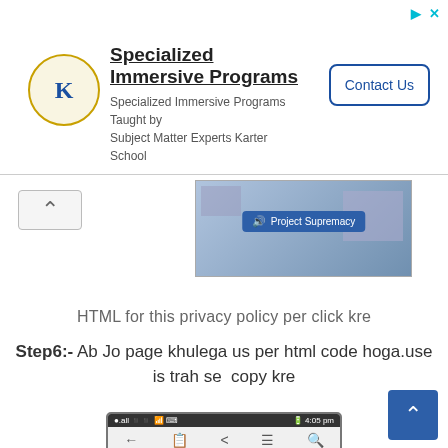[Figure (screenshot): Ad banner for Specialized Immersive Programs by Karter School with logo, text, and Contact Us button]
[Figure (screenshot): Scroll-up arrow button on left; thumbnail image with Project Supremacy blue label overlay]
HTML for this privacy policy per click kre
Step6:-  Ab Jo page khulega us per html code hoga.use is trah se  copy kre
[Figure (screenshot): Mobile phone screenshot showing a webpage with HTML code for Privacy Policy, including status bar, navigation bar, and code content]